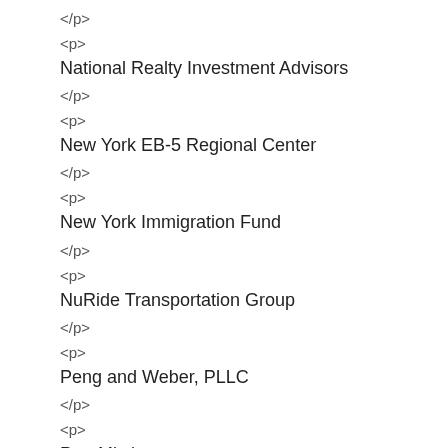</p>
<p>
National Realty Investment Advisors
</p>
<p>
New York EB-5 Regional Center
</p>
<p>
New York Immigration Fund
</p>
<p>
NuRide Transportation Group
</p>
<p>
Peng and Weber, PLLC
</p>
<p>
PropMix.io